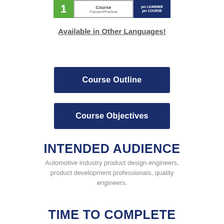[Figure (infographic): Course banner showing a green block with number 1, a white section labeled 'Course Focused/Practical', and a dark blue section labeled 'per LEARNER per COURSE']
Available in Other Languages!
Course Outline
Course Objectives
INTENDED AUDIENCE
Automotive industry product design engineers, product development professionals, quality engineers.
TIME TO COMPLETE